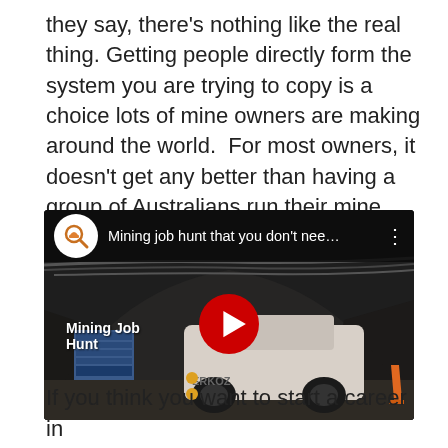they say, there's nothing like the real thing. Getting people directly form the system you are trying to copy is a choice lots of mine owners are making around the world.  For most owners, it doesn't get any better than having a group of Australians run their mine.
[Figure (screenshot): Embedded YouTube video thumbnail showing a mining tunnel with a large underground vehicle. The video is titled 'Mining job hunt that you don't nee…' with a YouTube play button overlay. The channel logo shows a hard-hat icon. Text overlay reads 'Mining Job Hunt'.]
If you think you want to start a career in